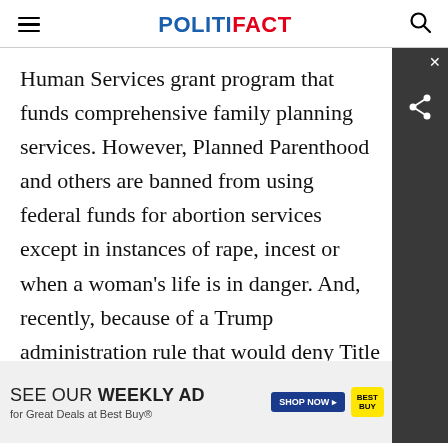POLITIFACT
Human Services grant program that funds comprehensive family planning services. However, Planned Parenthood and others are banned from using federal funds for abortion services except in instances of rape, incest or when a woman’s life is in danger. And, recently, because of a Trump administration rule that would deny Title X funds to any health clinics that refer women for abortions, Planned Parenthood has opted — for now — not to participate in the program.
[Figure (other): Best Buy advertisement banner: SEE OUR WEEKLY AD for Great Deals at Best Buy® with SHOP NOW button and Best Buy logo]